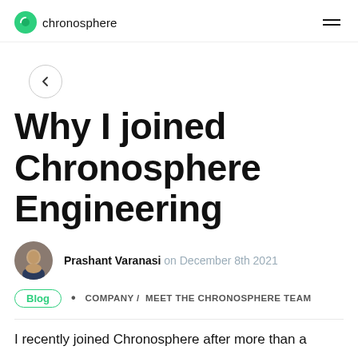chronosphere
[Figure (illustration): Back navigation button: a circle with a left-pointing arrow]
Why I joined Chronosphere Engineering
[Figure (photo): Circular portrait photo of Prashant Varanasi]
Prashant Varanasi on December 8th 2021
Blog • COMPANY / MEET THE CHRONOSPHERE TEAM
I recently joined Chronosphere after more than a